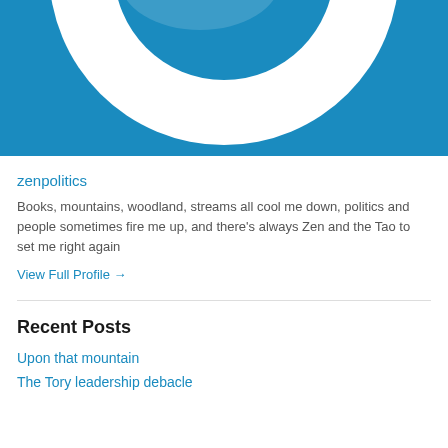[Figure (illustration): Profile image with white circular logo/icon on blue background, partially cropped showing bottom half]
zenpolitics
Books, mountains, woodland, streams all cool me down, politics and people sometimes fire me up, and there's always Zen and the Tao to set me right again
View Full Profile →
Recent Posts
Upon that mountain
The Tory leadership debacle